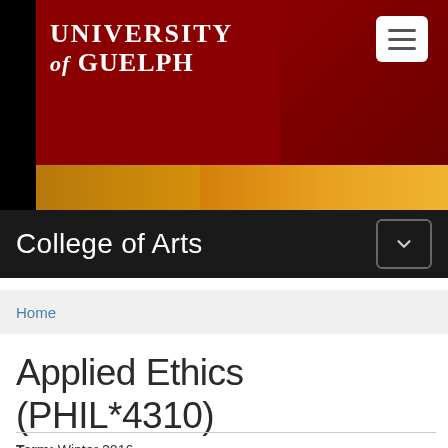[Figure (logo): University of Guelph logo with red and gold header banner, hamburger menu button, and College of Arts navigation bar with dropdown button]
College of Arts
Home
Applied Ethics (PHIL*4310)
Term: Winter 2016
Details